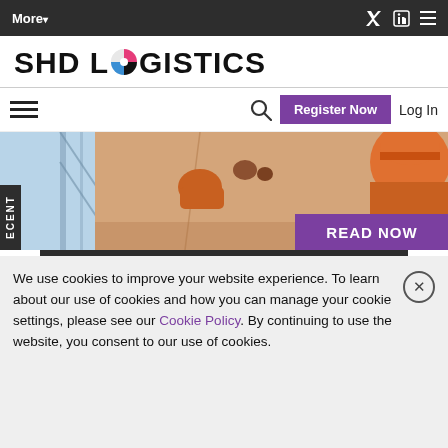More▾  [Twitter] [LinkedIn] [RSS]
SHD LOGISTICS
☰  🔍  Register Now  Log In
[Figure (photo): Close-up photo of a person in orange work gear handling a large cardboard box in a warehouse setting. Purple badge reads READ NOW.]
READ ONLINE
We use cookies to improve your website experience. To learn about our use of cookies and how you can manage your cookie settings, please see our Cookie Policy. By continuing to use the website, you consent to our use of cookies.